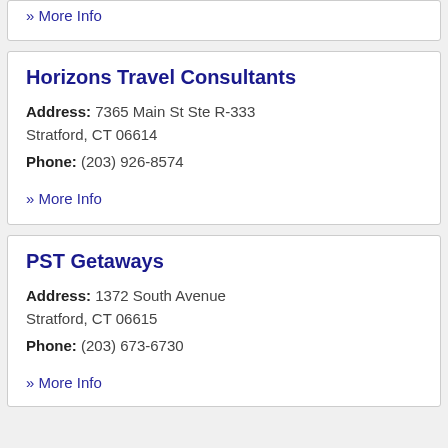» More Info
Horizons Travel Consultants
Address: 7365 Main St Ste R-333 Stratford, CT 06614
Phone: (203) 926-8574
» More Info
PST Getaways
Address: 1372 South Avenue Stratford, CT 06615
Phone: (203) 673-6730
» More Info